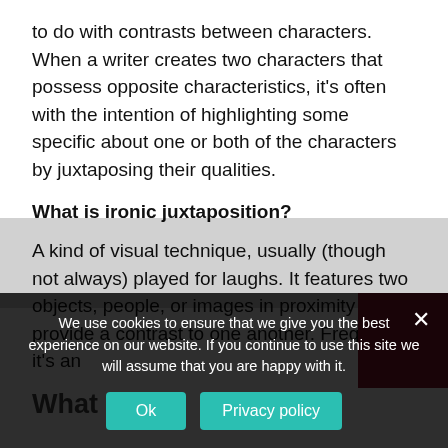to do with contrasts between characters. When a writer creates two characters that possess opposite characteristics, it’s often with the intention of highlighting some specific about one or both of the characters by juxtaposing their qualities.
What is ironic juxtaposition?
A kind of visual technique, usually (though not always) played for laughs. It features two objects, people, or images in proximity to provide a contrast to one another. Frequently, it’s an
We use cookies to ensure that we give you the best experience on our website. If you continue to use this site we will assume that you are happy with it.
What does
[Figure (photo): Partial dark red/maroon thumbnail image visible in lower right corner]